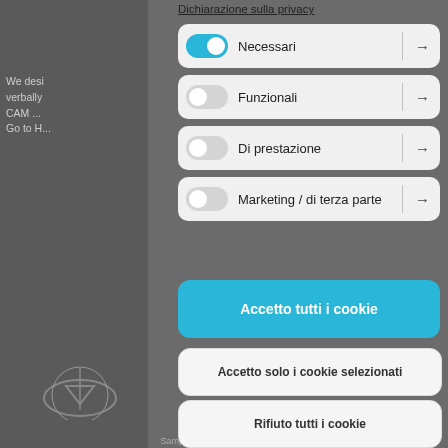We desi... verbally... CAM ... Go to H...
Dichiarazione sulla privacy
Necessari →
Funzionali →
Di prestazione →
Marketing / di terza parte →
Accetto tutti i cookie
Accetto solo i cookie selezionati
Rifiuto tutti i cookie
Sample Prototyping IN-STUDIO